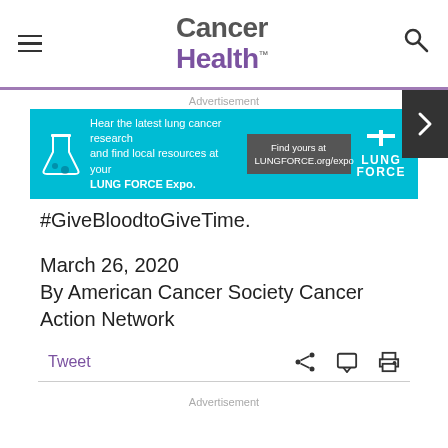Cancer Health
[Figure (screenshot): Advertisement banner for LUNG FORCE Expo: cyan background with chemistry flask icon, text 'Hear the latest lung cancer research and find local resources at your LUNG FORCE Expo.', 'Find yours at LUNGFORCE.org/expo' button, and LUNG FORCE logo]
#GiveBloodtoGiveTime.
March 26, 2020
By American Cancer Society Cancer Action Network
Tweet
Advertisement